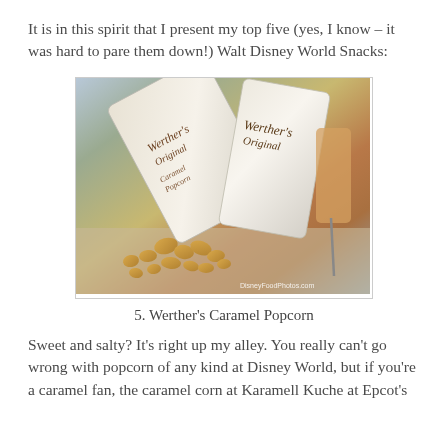It is in this spirit that I present my top five (yes, I know – it was hard to pare them down!) Walt Disney World Snacks:
[Figure (photo): Photo of Werther's Original branded popcorn bags with caramel popcorn spilling out, displayed on a counter. Watermark reads DisneyFoodPhotos.com]
5. Werther's Caramel Popcorn
Sweet and salty? It's right up my alley. You really can't go wrong with popcorn of any kind at Disney World, but if you're a caramel fan, the caramel corn at Karamell Kuche at Epcot's